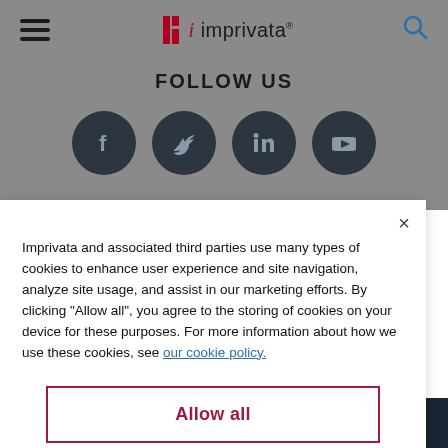[Figure (logo): Imprivata logo with hamburger menu icon on left and search icon on right in a navigation bar]
FOLLOW US
[Figure (infographic): Four dark circular social media icons: Facebook, Twitter, LinkedIn, YouTube]
Imprivata and associated third parties use many types of cookies to enhance user experience and site navigation, analyze site usage, and assist in our marketing efforts. By clicking “Allow all”, you agree to the storing of cookies on your device for these purposes. For more information about how we use these cookies, see our cookie policy.
Allow all
Customize settings